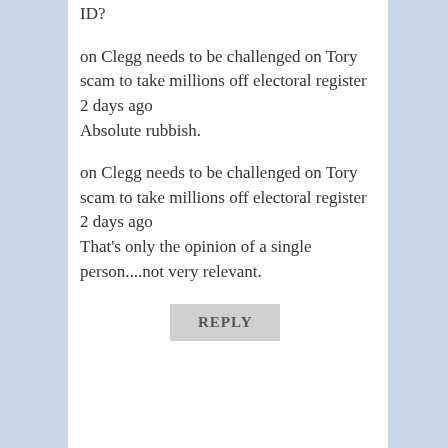ID?
on Clegg needs to be challenged on Tory scam to take millions off electoral register 2 days ago
Absolute rubbish.
on Clegg needs to be challenged on Tory scam to take millions off electoral register 2 days ago
That's only the opinion of a single person....not very relevant.
REPLY